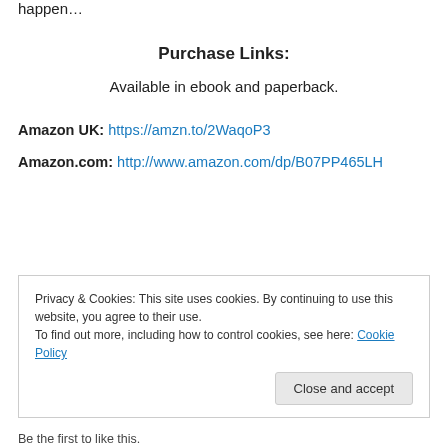happen…
Purchase Links:
Available in ebook and paperback.
Amazon UK: https://amzn.to/2WaqoP3
Amazon.com: http://www.amazon.com/dp/B07PP465LH
Privacy & Cookies: This site uses cookies. By continuing to use this website, you agree to their use. To find out more, including how to control cookies, see here: Cookie Policy
Close and accept
Be the first to like this.